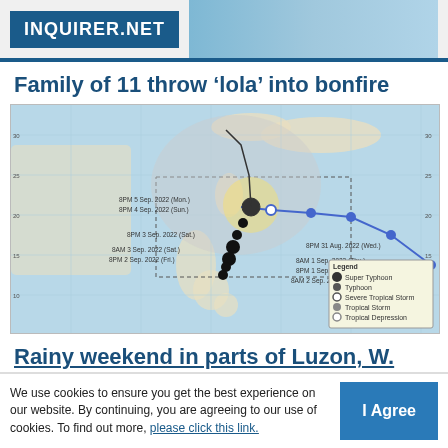INQUIRER.NET
Family of 11 throw ‘lola’ into bonfire
[Figure (map): Typhoon track map showing storm path over the Pacific near the Philippines, with forecast cone, position markers labeled with dates (8PM/8AM Sep/Aug 2022), and a legend showing Super Typhoon, Typhoon, Severe Tropical Storm, Tropical Storm, Tropical Depression symbols. A blue line shows the storm's projected track curving eastward.]
Rainy weekend in parts of Luzon, W. Visayas
We use cookies to ensure you get the best experience on our website. By continuing, you are agreeing to our use of cookies. To find out more, please click this link.